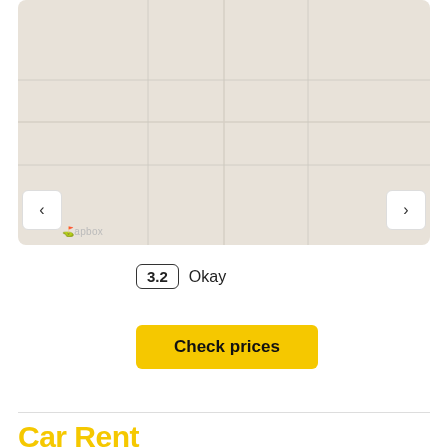[Figure (map): A map tile with beige/tan background (Mapbox style map), with navigation arrows on left and right sides and a Mapbox watermark in the lower left corner.]
3.2  Okay
Hertz   39 reviews • 2 locations   AVIS
Check prices
Car Rental FAQ